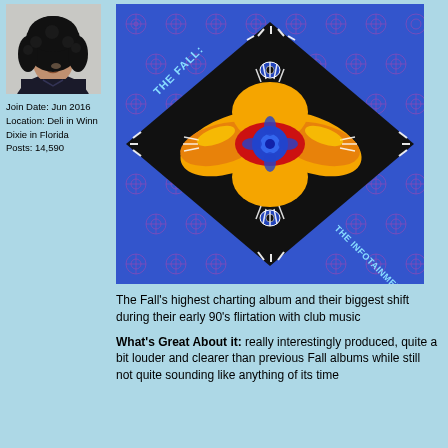[Figure (photo): Black and white photo of a person with curly dark hair wearing a dark top]
Join Date: Jun 2016
Location: Deli in Winn Dixie in Florida
Posts: 14,590
[Figure (photo): Album cover for The Fall: The Infotainment Scan. Blue patterned background with a black diamond shape containing a colorful mandala-like design in orange, red, yellow, and blue. Text 'THE FALL:' on left and 'THE INFOTAINMENT SCAN' on right.]
The Fall's highest charting album and their biggest shift during their early 90's flirtation with club music
What's Great About it: really interestingly produced, quite a bit louder and clearer than previous Fall albums while still not quite sounding like anything of its time